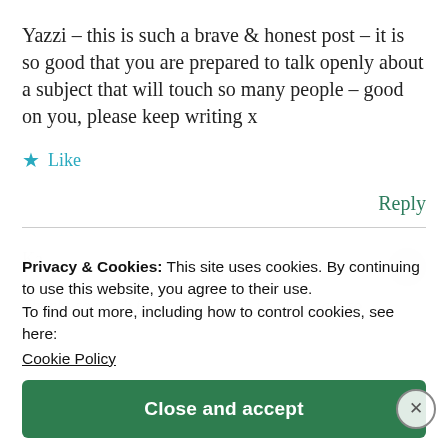Yazzi – this is such a brave & honest post – it is so good that you are prepared to talk openly about a subject that will touch so many people – good on you, please keep writing x
★ Like
Reply
Privacy & Cookies: This site uses cookies. By continuing to use this website, you agree to their use.
To find out more, including how to control cookies, see here:
Cookie Policy
Close and accept